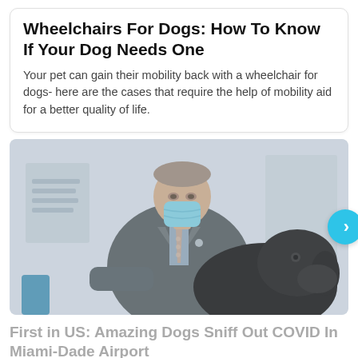Wheelchairs For Dogs: How To Know If Your Dog Needs One
Your pet can gain their mobility back with a wheelchair for dogs- here are the cases that require the help of mobility aid for a better quality of life.
[Figure (photo): A man in a dark suit wearing a blue surgical mask, holding a black dog in an indoor setting. A teal navigation arrow is overlaid on the right side.]
First in US: Amazing Dogs Sniff Out COVID In Miami-Dade Airport